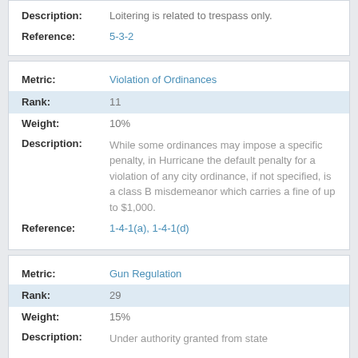| Field | Value |
| --- | --- |
| Description: | Loitering is related to trespass only. |
| Reference: | 5-3-2 |
| Field | Value |
| --- | --- |
| Metric: | Violation of Ordinances |
| Rank: | 11 |
| Weight: | 10% |
| Description: | While some ordinances may impose a specific penalty, in Hurricane the default penalty for a violation of any city ordinance, if not specified, is a class B misdemeanor which carries a fine of up to $1,000. |
| Reference: | 1-4-1(a), 1-4-1(d) |
| Field | Value |
| --- | --- |
| Metric: | Gun Regulation |
| Rank: | 29 |
| Weight: | 15% |
| Description: | Under authority granted from state |